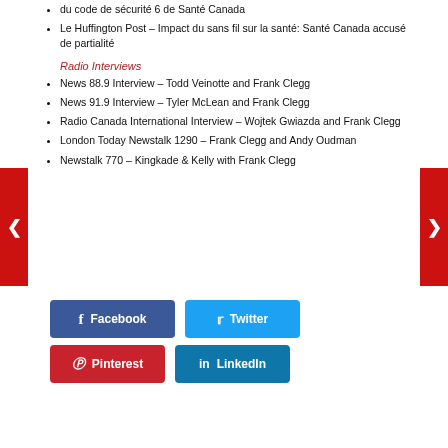du code de sécurité 6 de Santé Canada
Le Huffington Post – Impact du sans fil sur la santé: Santé Canada accusé de partialité
Radio Interviews
News 88.9 Interview – Todd Veinotte and Frank Clegg
News 91.9 Interview – Tyler McLean and Frank Clegg
Radio Canada International Interview – Wojtek Gwiazda and Frank Clegg
London Today Newstalk 1290 – Frank Clegg and Andy Oudman
Newstalk 770 – Kingkade & Kelly with Frank Clegg
[Figure (infographic): Social sharing buttons: Facebook (blue), Twitter (light blue), Pinterest (red), LinkedIn (blue)]